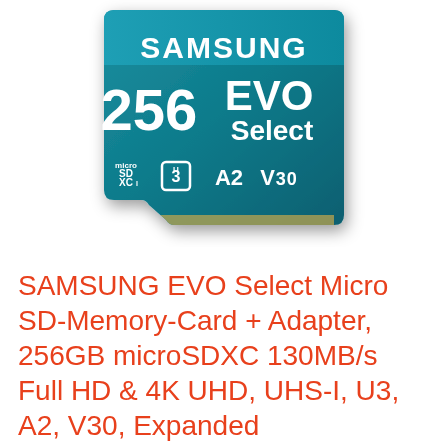[Figure (photo): Samsung EVO Select 256GB microSDXC memory card showing teal/blue gradient design with SAMSUNG branding, 256 EVO Select text, microSDXC I, U3, A2, V30 logos]
SAMSUNG EVO Select Micro SD-Memory-Card + Adapter, 256GB microSDXC 130MB/s Full HD & 4K UHD, UHS-I, U3, A2, V30, Expanded